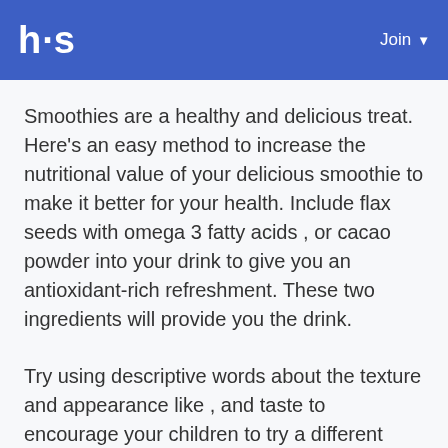h·s  Join
Smoothies are a healthy and delicious treat. Here's an easy method to increase the nutritional value of your delicious smoothie to make it better for your health. Include flax seeds with omega 3 fatty acids , or cacao powder into your drink to give you an antioxidant-rich refreshment. These two ingredients will provide you the drink.
Try using descriptive words about the texture and appearance like , and taste to encourage your children to try a different food. You can make them curious by explaining the texture.